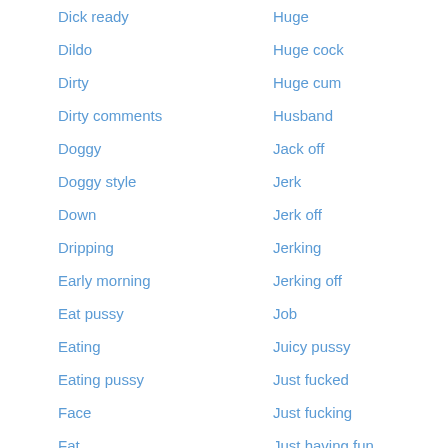Dick ready
Huge
Dildo
Huge cock
Dirty
Huge cum
Dirty comments
Husband
Doggy
Jack off
Doggy style
Jerk
Down
Jerk off
Dripping
Jerking
Early morning
Jerking off
Eat pussy
Job
Eating
Juicy pussy
Eating pussy
Just fucked
Face
Just fucking
Fat
Just having fun
Fat cock
Just horny